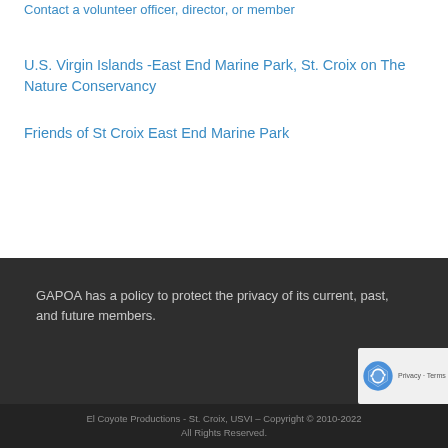Contact a volunteer officer, director, or member
U.S. Virgin Islands -East End Marine Park, St. Croix on The Nature Conservancy
Friends of St Croix East End Marine Park
GAPOA has a policy to protect the privacy of its current, past, and future members.
El Coyote Productions - St. Croix, USVI – Copyright © 2010-2022 All Rights Reserved.